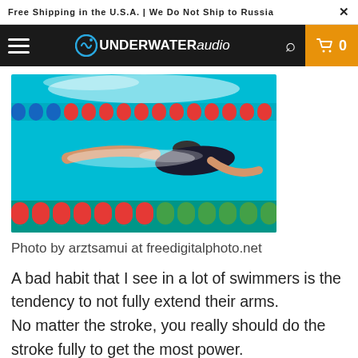Free Shipping in the U.S.A. | We Do Not Ship to Russia
[Figure (photo): Swimmer doing freestyle stroke in a competition pool with colorful lane dividers (blue, red, green)]
Photo by arztsamui at freedigitalphoto.net
A bad habit that I see in a lot of swimmers is the tendency to not fully extend their arms. No matter the stroke, you really should do the stroke fully to get the most power.